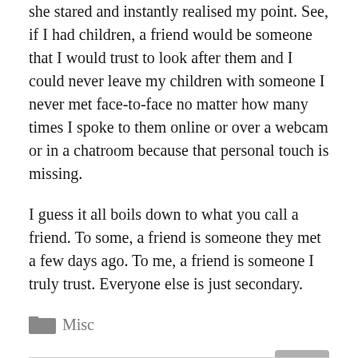she stared and instantly realised my point. See, if I had children, a friend would be someone that I would trust to look after them and I could never leave my children with someone I never met face-to-face no matter how many times I spoke to them online or over a webcam or in a chatroom because that personal touch is missing.
I guess it all boils down to what you call a friend. To some, a friend is someone they met a few days ago. To me, a friend is someone I truly trust. Everyone else is just secondary.
Misc
Leave a comment